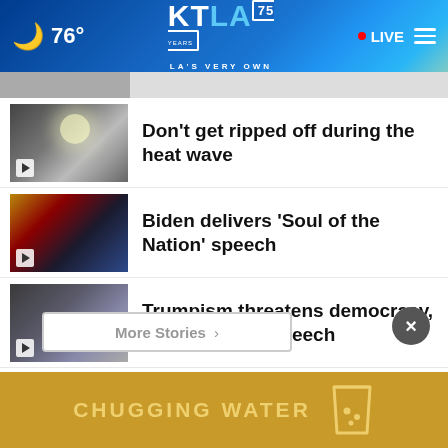KTLA 75 Years — LA's Very Own | 76° | LIVE
Don't get ripped off during the heat wave
Biden delivers 'Soul of the Nation' speech
Trumpism threatens democracy, Biden says in speech
1 dead, 1 injured after car, semi collide in Palmdale
More Stories >
CHUGGING WATER